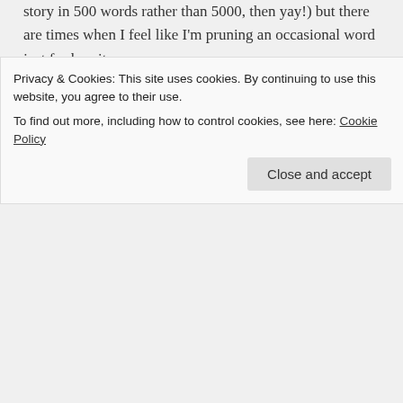story in 500 words rather than 5000, then yay!) but there are times when I feel like I'm pruning an occasional word just for brevity.
Liked by 1 person
Reply
Rachael Ritchey on April 20, 2017 at 12:11 pm
Privacy & Cookies: This site uses cookies. By continuing to use this website, you agree to their use.
To find out more, including how to control cookies, see here: Cookie Policy